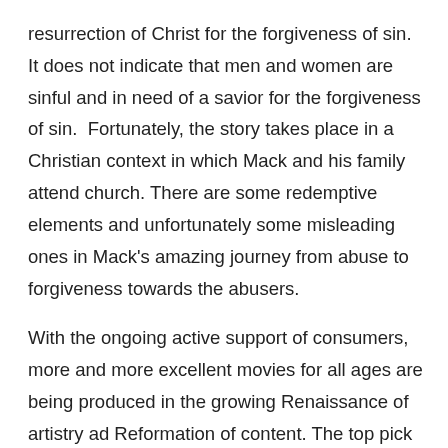resurrection of Christ for the forgiveness of sin. It does not indicate that men and women are sinful and in need of a savior for the forgiveness of sin.  Fortunately, the story takes place in a Christian context in which Mack and his family attend church. There are some redemptive elements and unfortunately some misleading ones in Mack's amazing journey from abuse to forgiveness towards the abusers.
With the ongoing active support of consumers, more and more excellent movies for all ages are being produced in the growing Renaissance of artistry ad Reformation of content. The top pick movie for all ages with the most significant substance and beautiful cinematography is Is Genesis History? The top pick for older teens through adults is A United Kingdom. The top